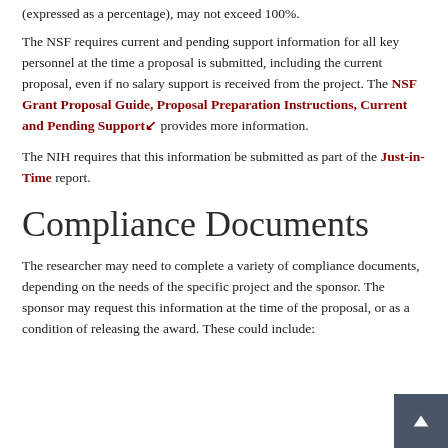(expressed as a percentage), may not exceed 100%.
The NSF requires current and pending support information for all key personnel at the time a proposal is submitted, including the current proposal, even if no salary support is received from the project. The NSF Grant Proposal Guide, Proposal Preparation Instructions, Current and Pending Support provides more information.
The NIH requires that this information be submitted as part of the Just-in-Time report.
Compliance Documents
The researcher may need to complete a variety of compliance documents, depending on the needs of the specific project and the sponsor. The sponsor may request this information at the time of the proposal, or as a condition of releasing the award. These could include: